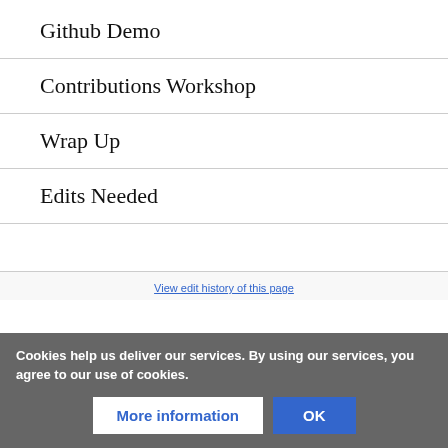Github Demo
Contributions Workshop
Wrap Up
Edits Needed
View edit history of this page
Cookies help us deliver our services. By using our services, you agree to our use of cookies.
More information | OK